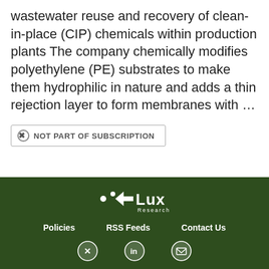wastewater reuse and recovery of clean-in-place (CIP) chemicals within production plants The company chemically modifies polyethylene (PE) substrates to make them hydrophilic in nature and adds a thin rejection layer to form membranes with …
⊗ NOT PART OF SUBSCRIPTION
Policies   RSS Feeds   Contact Us